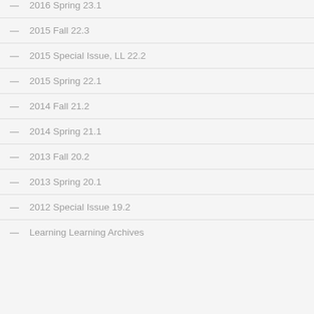2016 Spring 23.1
2015 Fall 22.3
2015 Special Issue, LL 22.2
2015 Spring 22.1
2014 Fall 21.2
2014 Spring 21.1
2013 Fall 20.2
2013 Spring 20.1
2012 Special Issue 19.2
Learning Learning Archives